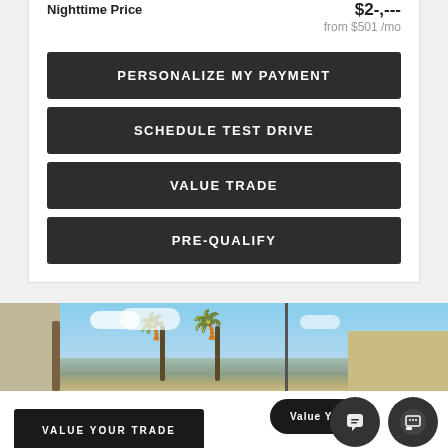Nighttime Price
from $501 /mo
PERSONALIZE MY PAYMENT
SCHEDULE TEST DRIVE
VALUE TRADE
PRE-QUALIFY
[Figure (photo): Dealership exterior with palm trees and blue sky]
VALUE YOUR TRADE
Value Yo...
INVENTORY
DIRECTIONS
CALL US